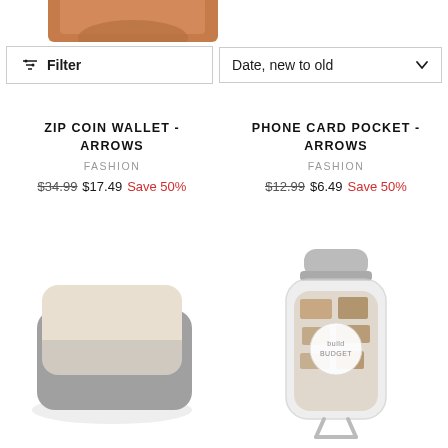[Figure (screenshot): Top portion of two product images cropped — brown leather product images at the very top]
Filter
Date, new to old
ZIP COIN WALLET - ARROWS
FASHION
$34.99  $17.49  Save 50%
PHONE CARD POCKET - ARROWS
FASHION
$12.99  $6.49  Save 50%
[Figure (photo): Grey and beige phone card pocket wallet, flat, viewed from above]
[Figure (photo): Clear bottle/pouch with round white label, containing printed paper scraps, with a handle strap]